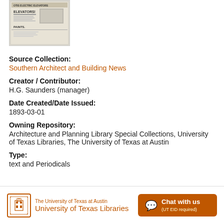[Figure (photo): Thumbnail image of a historical newspaper or publication page showing 'Otis Electric Elevators' advertisement with 'Elevators!' text and 'Paints' visible]
Source Collection:
Southern Architect and Building News
Creator / Contributor:
H.G. Saunders (manager)
Date Created/Date Issued:
1893-03-01
Owning Repository:
Architecture and Planning Library Special Collections, University of Texas Libraries, The University of Texas at Austin
Type:
text and Periodicals
The University of Texas at Austin University of Texas Libraries  Chat with us (UT EID required)